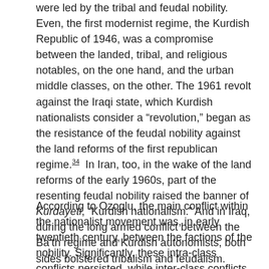were led by the tribal and feudal nobility. Even, the first modernist regime, the Kurdish Republic of 1946, was a compromise between the landed, tribal, and religious notables, on the one hand, and the urban middle classes, on the other. The 1961 revolt against the Iraqi state, which Kurdish nationalists consider a "revolution," began as the resistance of the feudal nobility against the land reforms of the first republican regime.34  In Iran, too, in the wake of the land reforms of the early 1960s, part of the resenting feudal nobility raised the banner of Kurdayeti, "Kurdish nationalism." And in Iraq, during the long armed conflict between the Ba'th regime and Kurdish autonomists, both sides bolstered tribalism and feudalism.
According to Ozoglu, the main conflict within the nationalist movement was, in early twentieth century, between the factions of the nobility. Significantly, these intra-class conflicts persisted, while inter-class conflicts, between the notables